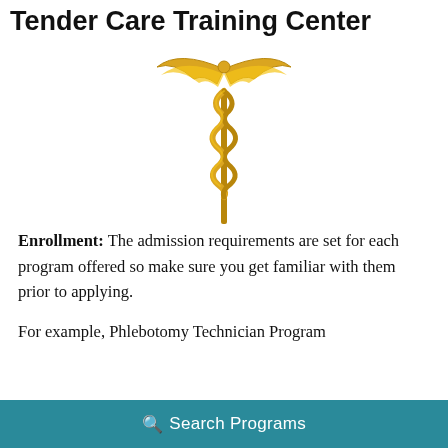Tender Care Training Center
[Figure (illustration): Golden caduceus medical symbol — a staff with two intertwined snakes and wings at the top, rendered in gold/yellow tones]
Enrollment: The admission requirements are set for each program offered so make sure you get familiar with them prior to applying.
For example, Phlebotomy Technician Program
Search Programs